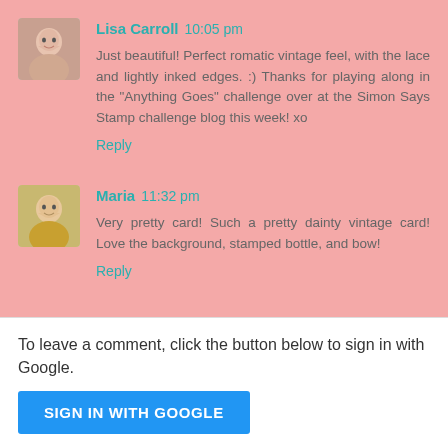[Figure (photo): Avatar photo of Lisa Carroll, a woman smiling]
Lisa Carroll 10:05 pm
Just beautiful! Perfect romatic vintage feel, with the lace and lightly inked edges. :) Thanks for playing along in the "Anything Goes" challenge over at the Simon Says Stamp challenge blog this week! xo
Reply
[Figure (photo): Avatar photo of Maria, a woman in a yellow top]
Maria 11:32 pm
Very pretty card! Such a pretty dainty vintage card! Love the background, stamped bottle, and bow!
Reply
To leave a comment, click the button below to sign in with Google.
SIGN IN WITH GOOGLE